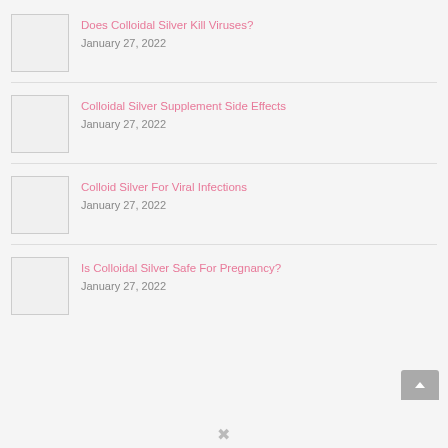Does Colloidal Silver Kill Viruses? — January 27, 2022
Colloidal Silver Supplement Side Effects — January 27, 2022
Colloid Silver For Viral Infections — January 27, 2022
Is Colloidal Silver Safe For Pregnancy? — January 27, 2022